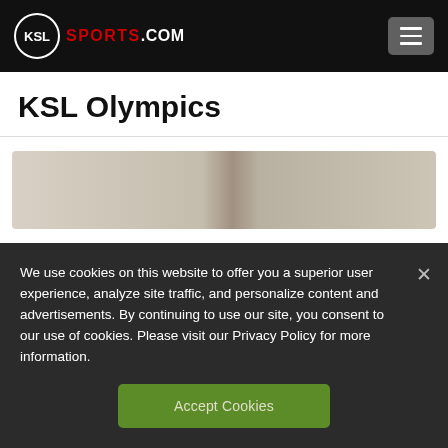KSL SPORTS.COM
KSL Olympics
[Figure (photo): Partially visible image strip showing what appears to be an Olympic-related photograph with beige/tan tones]
We use cookies on this website to offer you a superior user experience, analyze site traffic, and personalize content and advertisements. By continuing to use our site, you consent to our use of cookies. Please visit our Privacy Policy for more information.
Accept Cookies